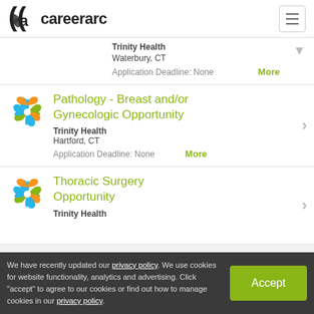careerarc
Trinity Health
Waterbury, CT
Application Deadline: None
More
Pathology - Breast and/or Gynecologic Opportunity
Trinity Health
Hartford, CT
Application Deadline: None
More
Thoracic Surgery Opportunity
Trinity Health
We have recently updated our privacy policy. We use cookies for website functionality, analytics and advertising. Click "accept" to agree to our cookies or find out how to manage cookies in our privacy policy.
Accept